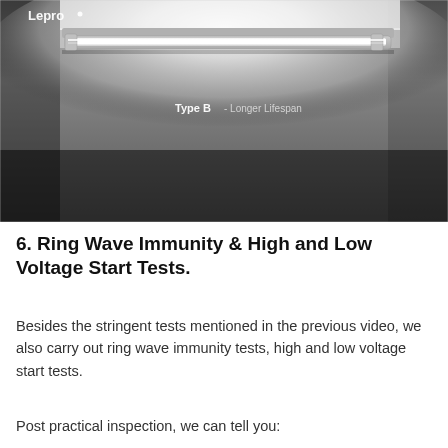[Figure (photo): Photo of a fluorescent tube light fixture mounted on a ceiling in a dark room. The fixture emits bright white light. Text overlay reads 'Type B - Longer Lifespan'. A logo reading 'Lepro' is visible in the top-left corner of the image.]
6. Ring Wave Immunity & High and Low Voltage Start Tests.
Besides the stringent tests mentioned in the previous video, we also carry out ring wave immunity tests, high and low voltage start tests.
Post practical inspection, we can tell you: